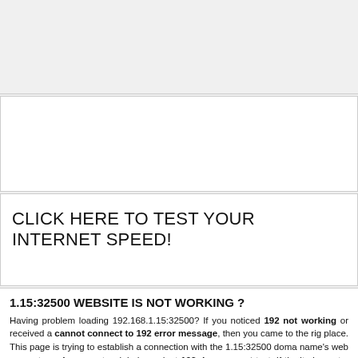[Figure (other): Top banner advertisement area – empty gray region]
[Figure (other): Middle banner advertisement area – empty white region with border]
CLICK HERE TO TEST YOUR INTERNET SPEED!
1.15:32500 WEBSITE IS NOT WORKING ?
Having problem loading 192.168.1.15:32500? If you noticed 192 not working or received a cannot connect to 192 error message, then you came to the right place. This page is trying to establish a connection with the 1.15:32500 domain name's web server to perform a network independent 192 down or not test. If the site is up, try the troubleshooting tips below, but if the site is down, there is n